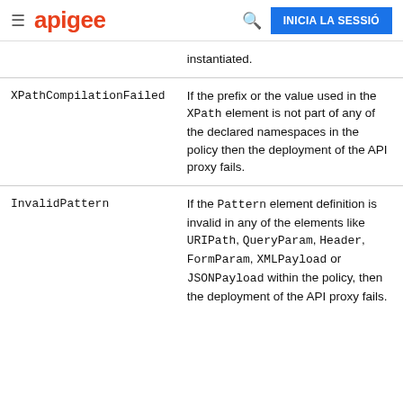apigee | INICIA LA SESSIÓ
| Error | Description |
| --- | --- |
|  | instantiated. |
| XPathCompilationFailed | If the prefix or the value used in the XPath element is not part of any of the declared namespaces in the policy then the deployment of the API proxy fails. |
| InvalidPattern | If the Pattern element definition is invalid in any of the elements like URIPath, QueryParam, Header, FormParam, XMLPayload or JSONPayload within the policy, then the deployment of the API proxy fails. |